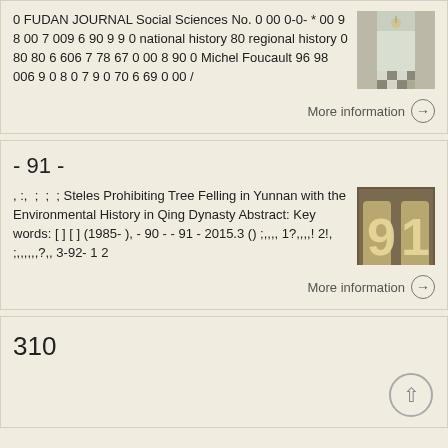0 FUDAN JOURNAL Social Sciences No. 0 00 0-0- * 00 9 8 00 7 009 6 90 9 9 0 national history 80 regional history 0 80 80 6 606 7 78 67 0 00 8 90 0 Michel Foucault 96 98 006 9 0 8 0 7 9 0 70 6 69 0 00 /
[Figure (photo): Interior hallway with chandelier and checkered floor]
More information →
- 91 -
, :, ; ; ; Steles Prohibiting Tree Felling in Yunnan with the Environmental History in Qing Dynasty Abstract: Key words: [ ] [ ] (1985- ), - 90 - - 91 - 2015.3 () ;,,,, 1?,,,,! 2!, ;,,,,,,?,, 3-92- 1 2
[Figure (photo): Number 91 in aged metallic lettering]
More information →
310